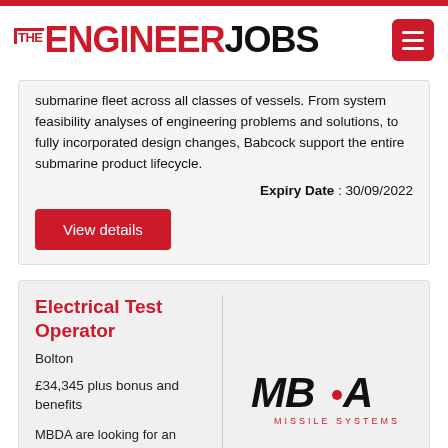THE ENGINEER JOBS
submarine fleet across all classes of vessels. From system feasibility analyses of engineering problems and solutions, to fully incorporated design changes, Babcock support the entire submarine product lifecycle.
Expiry Date : 30/09/2022
View details
Electrical Test Operator
Bolton
£34,345 plus bonus and benefits
[Figure (logo): MBDA Missile Systems logo in black italic text with red dot]
MBDA are looking for an experienced Electrical Test Operator to carry out test tasks within the operational